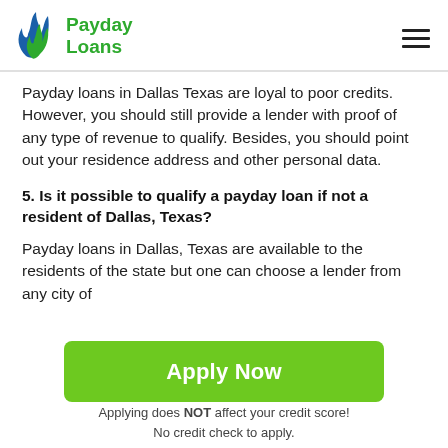Payday Loans
Payday loans in Dallas Texas are loyal to poor credits. However, you should still provide a lender with proof of any type of revenue to qualify. Besides, you should point out your residence address and other personal data.
5. Is it possible to qualify a payday loan if not a resident of Dallas, Texas?
Payday loans in Dallas, Texas are available to the residents of the state but one can choose a lender from any city of
[Figure (other): Green 'Apply Now' button]
Applying does NOT affect your credit score!
No credit check to apply.